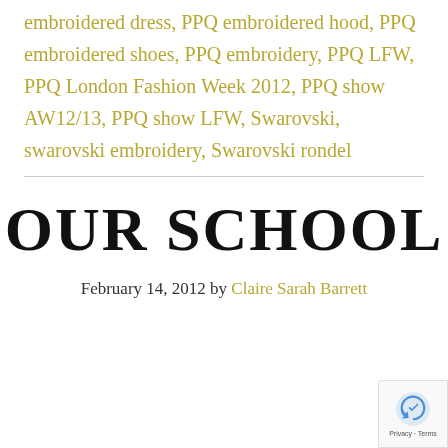embroidered dress, PPQ embroidered hood, PPQ embroidered shoes, PPQ embroidery, PPQ LFW, PPQ London Fashion Week 2012, PPQ show AW12/13, PPQ show LFW, Swarovski, swarovski embroidery, Swarovski rondel
OUR SCHOOL
February 14, 2012 by Claire Sarah Barrett